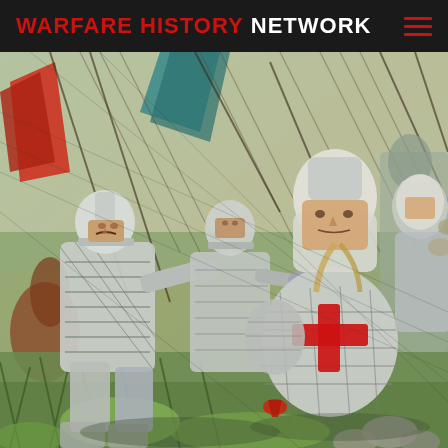WARFARE HISTORY NETWORK
[Figure (illustration): A painted illustration depicting medieval knights in armor engaged in close combat. The scene shows multiple armored soldiers wearing plate armor in silver/grey tones, with one knight prominently displaying a red cross on his surcoat. The figures are shown in dynamic battle poses with weapons, against a background of flags and vegetation. The style is a detailed, dramatic military history painting.]